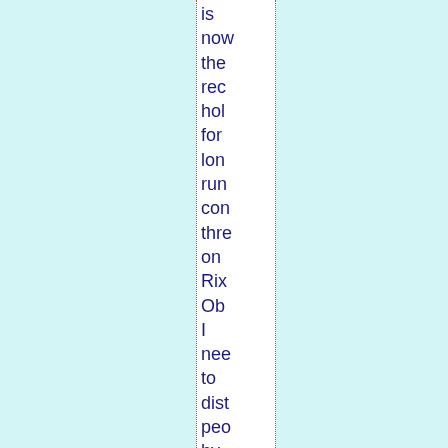is now the rec hol for lon run con thre on Rix Ob I nee to dist peo by get son pos up.